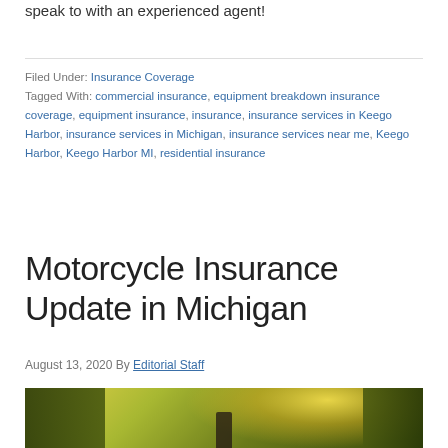speak to with an experienced agent!
Filed Under: Insurance Coverage
Tagged With: commercial insurance, equipment breakdown insurance coverage, equipment insurance, insurance, insurance services in Keego Harbor, insurance services in Michigan, insurance services near me, Keego Harbor, Keego Harbor MI, residential insurance
Motorcycle Insurance Update in Michigan
August 13, 2020 By Editorial Staff
[Figure (photo): A person riding a motorcycle on a road surrounded by trees with bright sunlight shining through the foliage]